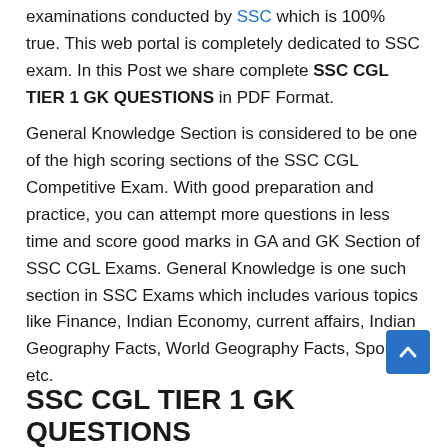examinations conducted by SSC which is 100% true. This web portal is completely dedicated to SSC exam. In this Post we share complete SSC CGL TIER 1 GK QUESTIONS in PDF Format.
General Knowledge Section is considered to be one of the high scoring sections of the SSC CGL Competitive Exam. With good preparation and practice, you can attempt more questions in less time and score good marks in GA and GK Section of SSC CGL Exams. General Knowledge is one such section in SSC Exams which includes various topics like Finance, Indian Economy, current affairs, Indian Geography Facts, World Geography Facts, Sports etc.
SSC CGL TIER 1 GK QUESTIONS